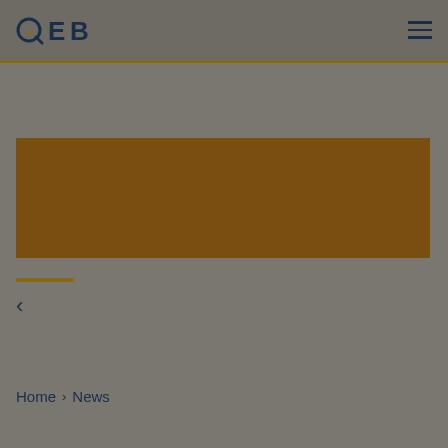QEB
[Figure (photo): Brown/dark amber rectangular image placeholder]
< (navigation back arrow)
Home > News